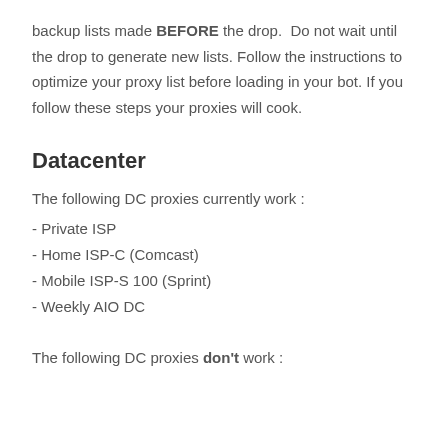backup lists made BEFORE the drop.  Do not wait until the drop to generate new lists. Follow the instructions to optimize your proxy list before loading in your bot. If you follow these steps your proxies will cook.
Datacenter
The following DC proxies currently work :
- Private ISP
- Home ISP-C (Comcast)
- Mobile ISP-S 100 (Sprint)
- Weekly AIO DC
The following DC proxies don't work :